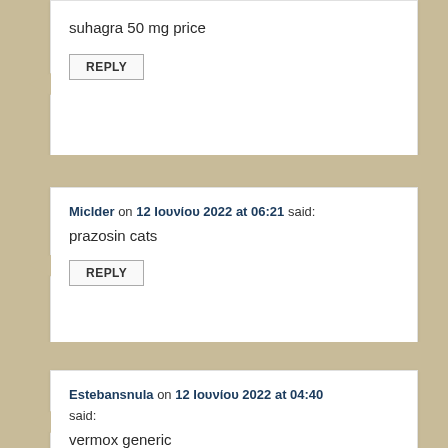suhagra 50 mg price
REPLY
Miclder on 12 Ιουνίου 2022 at 06:21 said:
prazosin cats
REPLY
Estebansnula on 12 Ιουνίου 2022 at 04:40 said:
vermox generic
REPLY
Link on 10 Ιουνίου 2022 at 23:56 said: